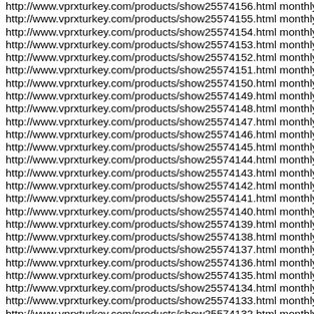http://www.vprxturkey.com/products/show25574156.html monthly
http://www.vprxturkey.com/products/show25574155.html monthly
http://www.vprxturkey.com/products/show25574154.html monthly
http://www.vprxturkey.com/products/show25574153.html monthly
http://www.vprxturkey.com/products/show25574152.html monthly
http://www.vprxturkey.com/products/show25574151.html monthly
http://www.vprxturkey.com/products/show25574150.html monthly
http://www.vprxturkey.com/products/show25574149.html monthly
http://www.vprxturkey.com/products/show25574148.html monthly
http://www.vprxturkey.com/products/show25574147.html monthly
http://www.vprxturkey.com/products/show25574146.html monthly
http://www.vprxturkey.com/products/show25574145.html monthly
http://www.vprxturkey.com/products/show25574144.html monthly
http://www.vprxturkey.com/products/show25574143.html monthly
http://www.vprxturkey.com/products/show25574142.html monthly
http://www.vprxturkey.com/products/show25574141.html monthly
http://www.vprxturkey.com/products/show25574140.html monthly
http://www.vprxturkey.com/products/show25574139.html monthly
http://www.vprxturkey.com/products/show25574138.html monthly
http://www.vprxturkey.com/products/show25574137.html monthly
http://www.vprxturkey.com/products/show25574136.html monthly
http://www.vprxturkey.com/products/show25574135.html monthly
http://www.vprxturkey.com/products/show25574134.html monthly
http://www.vprxturkey.com/products/show25574133.html monthly
http://www.vprxturkey.com/products/show25574132.html monthly
http://www.vprxturkey.com/products/show25574131.html monthly